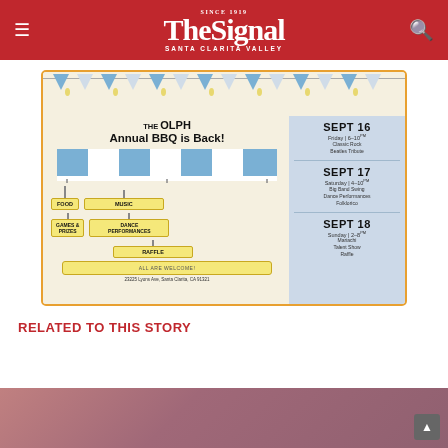The Signal — Santa Clarita Valley
[Figure (illustration): OLPH Annual BBQ advertisement flyer. Features bunting and string lights at top, a striped awning, signs for FOOD, GAMES & PRIZES, MUSIC, DANCE PERFORMANCES, RAFFLE. Right panel shows three date blocks: SEPT 16 Friday 6-10pm Classic Rock Beatles Tribute; SEPT 17 Saturday 4-10pm Big Band Swing Dance Performances Folklorico; SEPT 18 Sunday 2-8pm Mariachi Talent Show Raffle. Bottom says ALL ARE WELCOME! and address 23225 Lyons Ave, Santa Clarita, CA 91321.]
RELATED TO THIS STORY
[Figure (photo): Partial photo visible at bottom of page, reddish/brown toned image.]